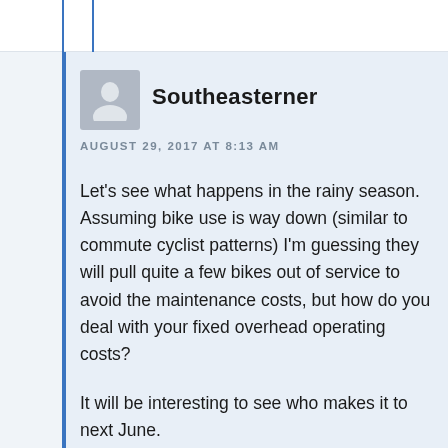Southeasterner
AUGUST 29, 2017 AT 8:13 AM
Let's see what happens in the rainy season. Assuming bike use is way down (similar to commute cyclist patterns) I'm guessing they will pull quite a few bikes out of service to avoid the maintenance costs, but how do you deal with your fixed overhead operating costs?
It will be interesting to see who makes it to next June.